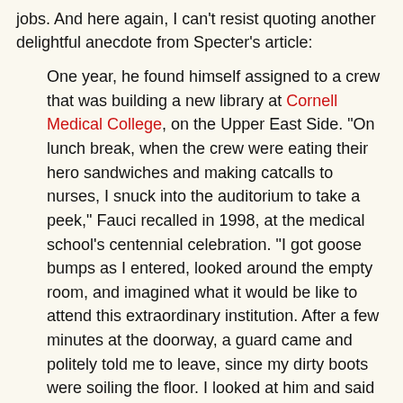jobs. And here again, I can't resist quoting another delightful anecdote from Specter's article:
One year, he found himself assigned to a crew that was building a new library at Cornell Medical College, on the Upper East Side. "On lunch break, when the crew were eating their hero sandwiches and making catcalls to nurses, I snuck into the auditorium to take a peek," Fauci recalled in 1998, at the medical school's centennial celebration. "I got goose bumps as I entered, looked around the empty room, and imagined what it would be like to attend this extraordinary institution. After a few minutes at the doorway, a guard came and politely told me to leave, since my dirty boots were soiling the floor. I looked at him and said proudly that I would be attending this institution a year from now. He laughed and said, 'Right, kid, and next year I am going to be Police Commissioner.'"
Fauci graduated first in his class in 1966, which of course